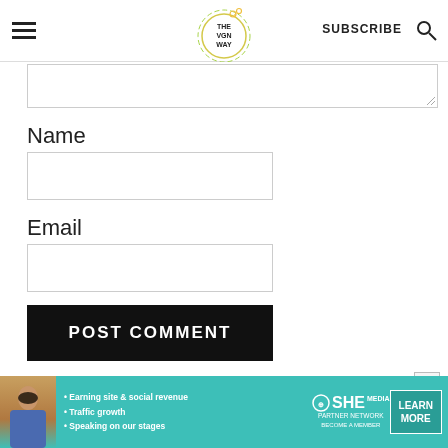THE VGN WAY — SUBSCRIBE
Name
Email
POST COMMENT
[Figure (screenshot): Advertisement banner for SHE Media Partner Network featuring a woman's photo, bullet points about earning site & social revenue, traffic growth, speaking on our stages, SHE partner network logo, and a Learn More button]